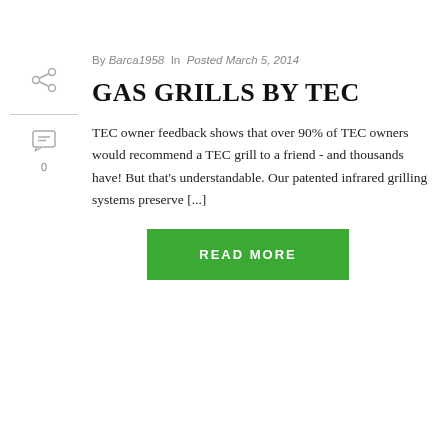By Barca1958 In Posted March 5, 2014
GAS GRILLS BY TEC
TEC owner feedback shows that over 90% of TEC owners would recommend a TEC grill to a friend - and thousands have! But that's understandable. Our patented infrared grilling systems preserve [...]
READ MORE